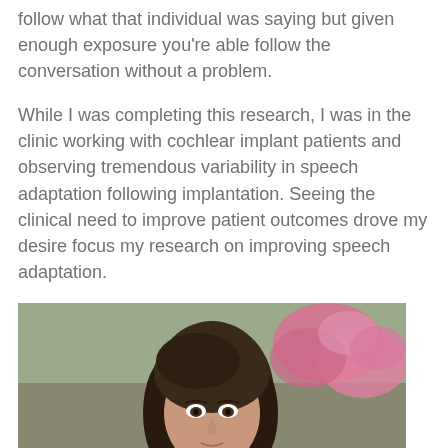follow what that individual was saying but given enough exposure you’re able follow the conversation without a problem.
While I was completing this research, I was in the clinic working with cochlear implant patients and observing tremendous variability in speech adaptation following implantation. Seeing the clinical need to improve patient outcomes drove my desire focus my research on improving speech adaptation.
[Figure (photo): Portrait photo of a woman with dark hair, outdoors with pink flowers visible in the background]